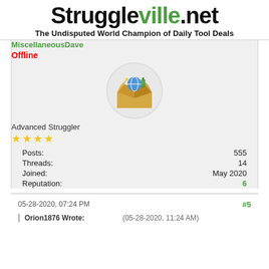Struggleville.net — The Undisputed World Champion of Daily Tool Deals
MiscellaneousDave
Offline
[Figure (illustration): Circular avatar showing an open cardboard box with colorful items inside]
Advanced Struggler
★★★★ (4 stars)
| Field | Value |
| --- | --- |
| Posts: | 555 |
| Threads: | 14 |
| Joined: | May 2020 |
| Reputation: | 6 |
05-28-2020, 07:24 PM
#5
Orion1876 Wrote:   (05-28-2020, 11:24 AM)